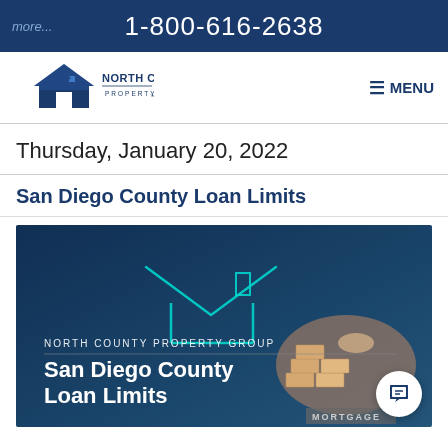more... 1-800-616-2638
[Figure (logo): North County Property Group logo with house icon]
≡ MENU
Thursday, January 20, 2022
San Diego County Loan Limits
[Figure (photo): Hero image for San Diego County Loan Limits article. Shows a hand stacking wooden blocks with a glowing teal house outline graphic overlay. Text reads: NORTH COUNTY PROPERTY GROUP / San Diego County Loan Limits / MORTGAGE]